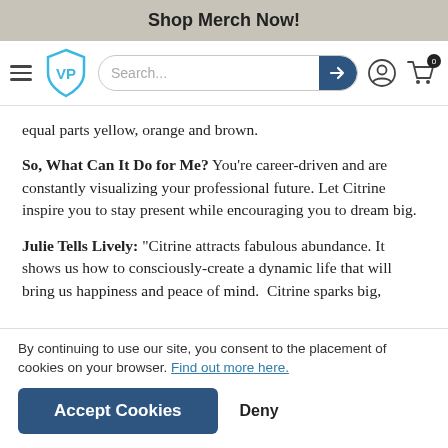Shop Merch Now!
[Figure (screenshot): Website navigation bar with hamburger menu, VP shield logo, search bar with arrow button, user account icon, and shopping cart icon with 0 badge]
equal parts yellow, orange and brown.
So, What Can It Do for Me? You're career-driven and are constantly visualizing your professional future. Let Citrine inspire you to stay present while encouraging you to dream big.
Julie Tells Lively: “Citrine attracts fabulous abundance. It shows us how to consciously-create a dynamic life that will bring us happiness and peace of mind.  Citrine sparks big,
By continuing to use our site, you consent to the placement of cookies on your browser. Find out more here.
Accept Cookies
Deny